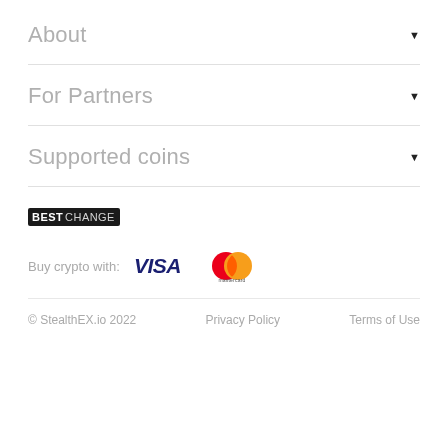About
For Partners
Supported coins
[Figure (logo): BESTCHANGE logo — black rectangle with white bold text BEST and light text CHANGE]
Buy crypto with: VISA Mastercard
© StealthEX.io 2022    Privacy Policy    Terms of Use